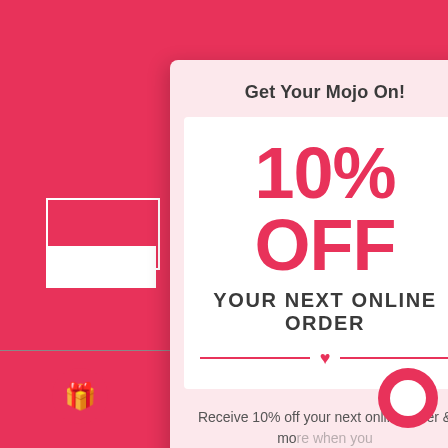Get Your Mojo On!
10% OFF
YOUR NEXT ONLINE ORDER
Receive 10% off your next online order & more when you join our newsletter!
Type your name